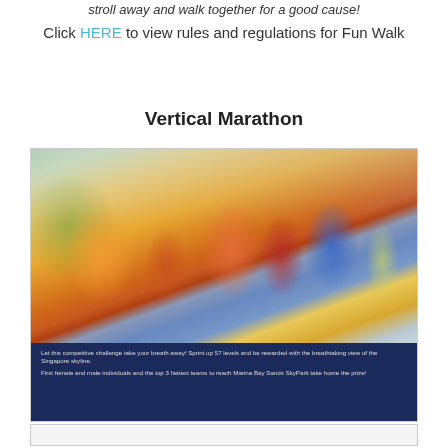stroll away and walk together for a good cause!
Click HERE to view rules and regulations for Fun Walk
Vertical Marathon
[Figure (photo): Group of runners jumping joyfully in front of a yellow banner at what appears to be a race finish area. Below the photo is a dark blue overlay with caption text: 'Let this competitive challenge take your breath away! Sprint up 57 levels and be rewarded with the breathtaking view of the Singapore skyline. First female and male individuals and the top 3 fastest teams to reach Marina Bay Sands SkyPark take home the prize!']